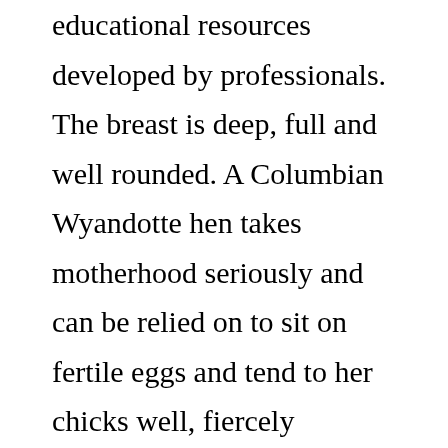educational resources developed by professionals. The breast is deep, full and well rounded. A Columbian Wyandotte hen takes motherhood seriously and can be relied on to sit on fertile eggs and tend to her chicks well, fiercely protecting them from danger. How Long Do Wyandotte Chickens Lay Eggs? White Wyandottes and Black Wyandottes were produced from Silver Laced Wyandottes by B.M. A prolific and dependable layer, the energetic Columbian Wyandotte hen produces an average of 200